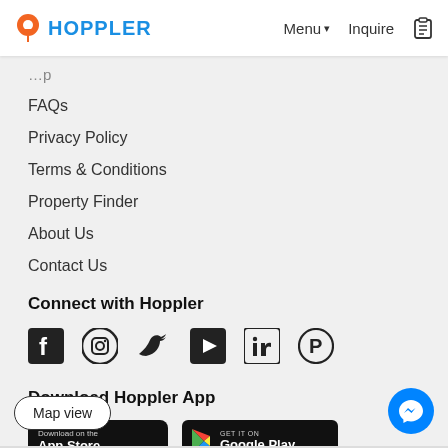HOPPLER | Menu ▾ | Inquire
FAQs
Privacy Policy
Terms & Conditions
Property Finder
About Us
Contact Us
Connect with Hoppler
[Figure (illustration): Social media icons: Facebook, Instagram, Twitter, YouTube, LinkedIn, Pinterest]
Download Hoppler App
[Figure (illustration): App store badges: Download on the App Store, Get it on Google Play]
Map view